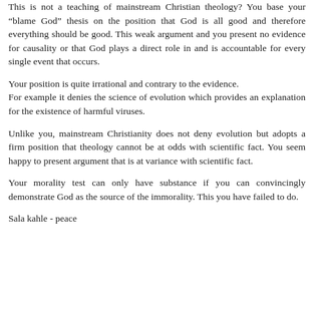This is not a teaching of mainstream Christian theology? You base your “blame God” thesis on the position that God is all good and therefore everything should be good. This weak argument and you present no evidence for causality or that God plays a direct role in and is accountable for every single event that occurs.
Your position is quite irrational and contrary to the evidence.
For example it denies the science of evolution which provides an explanation for the existence of harmful viruses.
Unlike you, mainstream Christianity does not deny evolution but adopts a firm position that theology cannot be at odds with scientific fact. You seem happy to present argument that is at variance with scientific fact.
Your morality test can only have substance if you can convincingly demonstrate God as the source of the immorality. This you have failed to do.
Sala kahle - peace